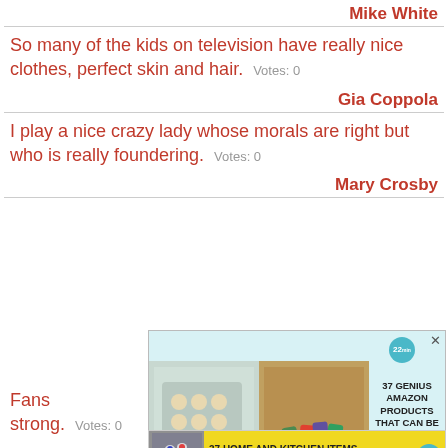Mike White
So many of the kids on television have really nice clothes, perfect skin and hair. Votes: 0
Gia Coppola
I play a nice crazy lady whose morals are right but who is really foundering. Votes: 0
Mary Crosby
[Figure (screenshot): Advertisement banner: '37 GENIUS AMAZON PRODUCTS THAT CAN BE USED BY ANYONE' with images of baked goods and cosmetics, plus a secondary ad '37 HOME AND KITCHEN ITEMS EVERYONE SHOULD OWN']
Fans ... that they rarely come on too strong. Votes: 0
Stan Lee